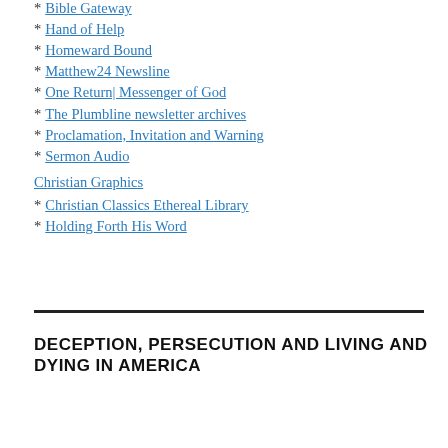* Bible Gateway
* Hand of Help
* Homeward Bound
* Matthew24 Newsline
* One Return| Messenger of God
* The Plumbline newsletter archives
* Proclamation, Invitation and Warning
* Sermon Audio
Christian Graphics
* Christian Classics Ethereal Library
* Holding Forth His Word
DECEPTION, PERSECUTION AND LIVING AND DYING IN AMERICA